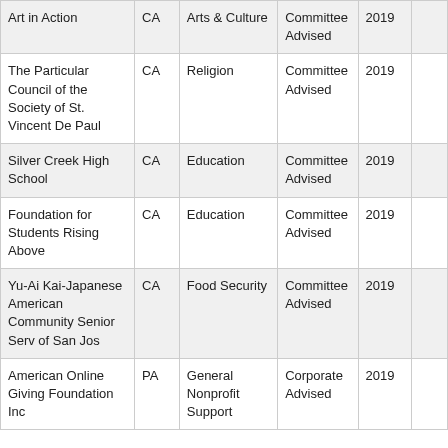| Art in Action | CA | Arts & Culture | Committee Advised | 2019 |  |
| The Particular Council of the Society of St. Vincent De Paul | CA | Religion | Committee Advised | 2019 |  |
| Silver Creek High School | CA | Education | Committee Advised | 2019 |  |
| Foundation for Students Rising Above | CA | Education | Committee Advised | 2019 |  |
| Yu-Ai Kai-Japanese American Community Senior Serv of San Jos | CA | Food Security | Committee Advised | 2019 |  |
| American Online Giving Foundation Inc | PA | General Nonprofit Support | Corporate Advised | 2019 |  |